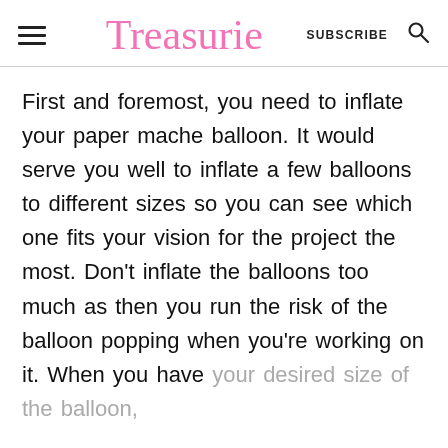Treasurie | SUBSCRIBE
First and foremost, you need to inflate your paper mache balloon. It would serve you well to inflate a few balloons to different sizes so you can see which one fits your vision for the project the most. Don't inflate the balloons too much as then you run the risk of the balloon popping when you're working on it. When you have your desired size of the balloon,